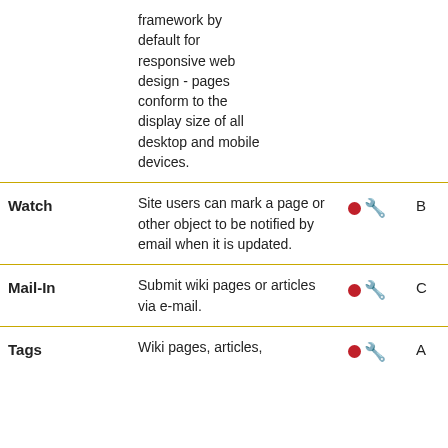| Feature | Description | Icons | Level |
| --- | --- | --- | --- |
|  | framework by default for responsive web design - pages conform to the display size of all desktop and mobile devices. |  |  |
| Watch | Site users can mark a page or other object to be notified by email when it is updated. | ● 🔧 | B |
| Mail-In | Submit wiki pages or articles via e-mail. | ● 🔧 | C |
| Tags | Wiki pages, articles, | ● 🔧 | A |